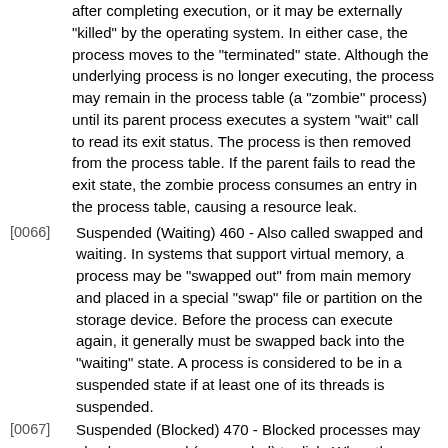after completing execution, or it may be externally "killed" by the operating system. In either case, the process moves to the "terminated" state. Although the underlying process is no longer executing, the process may remain in the process table (a "zombie" process) until its parent process executes a system "wait" call to read its exit status. The process is then removed from the process table. If the parent fails to read the exit state, the zombie process consumes an entry in the process table, causing a resource leak.
[0066] Suspended (Waiting) 460 - Also called swapped and waiting. In systems that support virtual memory, a process may be "swapped out" from main memory and placed in a special "swap" file or partition on the storage device. Before the process can execute again, it generally must be swapped back into the "waiting" state. A process is considered to be in a suspended state if at least one of its threads is suspended.
[0067] Suspended (Blocked) 470 - Blocked processes may also be swapped (suspended) to disk. When the process is swapped back into main memory, it